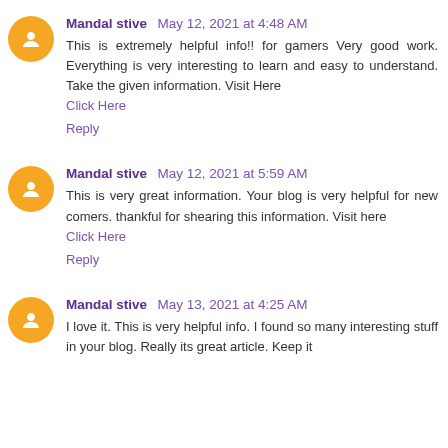Mandal stive  May 12, 2021 at 4:48 AM
This is extremely helpful info!! for gamers Very good work. Everything is very interesting to learn and easy to understand. Take the given information. Visit Here
Click Here
Reply
Mandal stive  May 12, 2021 at 5:59 AM
This is very great information. Your blog is very helpful for new comers. thankful for shearing this information. Visit here
Click Here
Reply
Mandal stive  May 13, 2021 at 4:25 AM
I love it. This is very helpful info. I found so many interesting stuff in your blog. Really its great article. Keep it